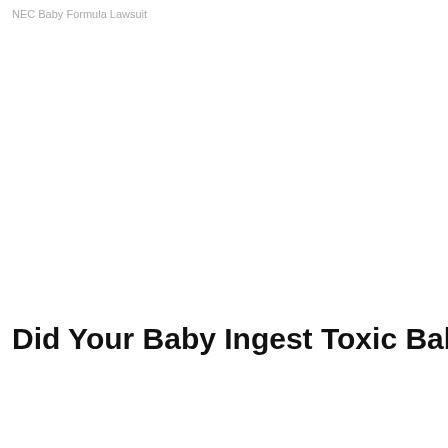NEC Baby Formula Lawsuit
Did Your Baby Ingest Toxic Baby Formula? We